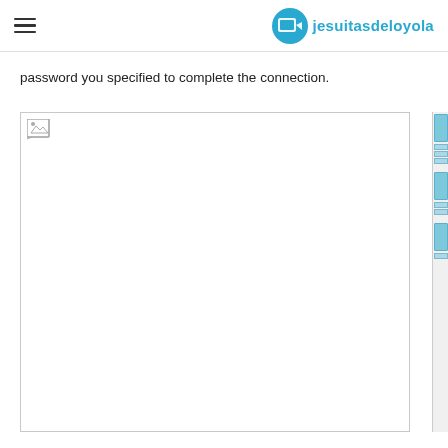jesuitasdeloyola
password you specified to complete the connection.
[Figure (screenshot): A screenshot or image placeholder showing a broken image icon in the top-left corner. The image content is not loaded (broken image). To the right of the image area there are vertical scrollbar/panel elements with blue-tinted blocks.]